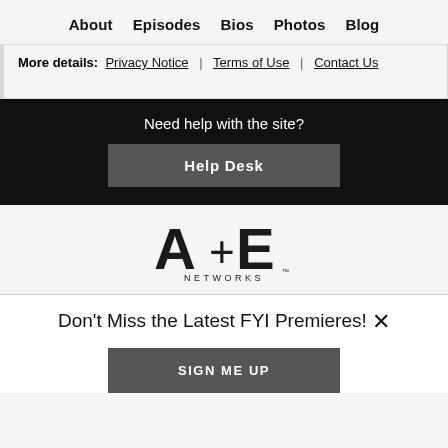About  Episodes  Bios  Photos  Blog
More details: Privacy Notice | Terms of Use | Contact Us
Need help with the site?
Help Desk
[Figure (logo): A+E Networks logo]
Don't Miss the Latest FYI Premieres! ×
SIGN ME UP